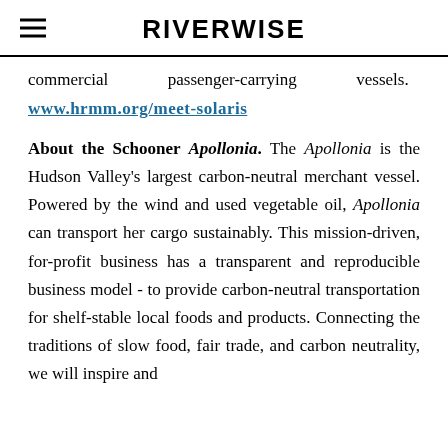RIVERWISE
commercial passenger-carrying vessels.
www.hrmm.org/meet-solaris
About the Schooner Apollonia. The Apollonia is the Hudson Valley's largest carbon-neutral merchant vessel. Powered by the wind and used vegetable oil, Apollonia can transport her cargo sustainably. This mission-driven, for-profit business has a transparent and reproducible business model - to provide carbon-neutral transportation for shelf-stable local foods and products. Connecting the traditions of slow food, fair trade, and carbon neutrality, we will inspire and